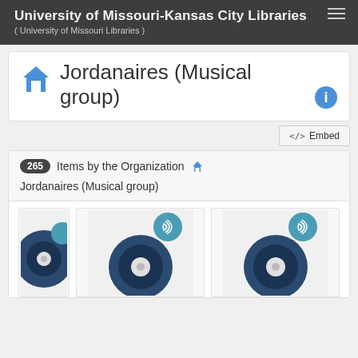University of Missouri-Kansas City Libraries ( University of Missouri Libraries )
Jordanaires (Musical group)
</>  Embed
265 Items by the Organization   Jordanaires (Musical group)
[Figure (screenshot): Three music record/audio item thumbnails displayed in a grid. Each shows a stylized vinyl record icon with a speaker/audio badge overlay in teal/blue. The leftmost is partially cut off.]